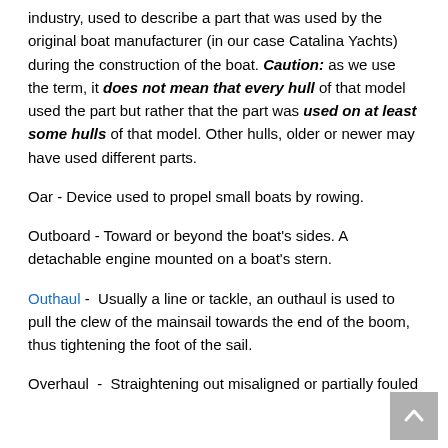industry, used to describe a part that was used by the original boat manufacturer (in our case Catalina Yachts) during the construction of the boat. Caution: as we use the term, it does not mean that every hull of that model used the part but rather that the part was used on at least some hulls of that model. Other hulls, older or newer may have used different parts.
Oar - Device used to propel small boats by rowing.
Outboard - Toward or beyond the boat’s sides. A detachable engine mounted on a boat’s stern.
Outhaul - Usually a line or tackle, an outhaul is used to pull the clew of the mainsail towards the end of the boom, thus tightening the foot of the sail.
Overhaul - Straightening out misaligned or partially fouled